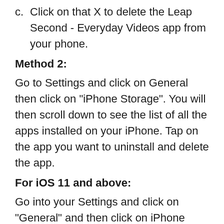c. Click on that X to delete the Leap Second - Everyday Videos app from your phone.
Method 2:
Go to Settings and click on General then click on "iPhone Storage". You will then scroll down to see the list of all the apps installed on your iPhone. Tap on the app you want to uninstall and delete the app.
For iOS 11 and above:
Go into your Settings and click on "General" and then click on iPhone Storage. You will see the option "Offload Unused Apps". Right next to it is the "Enable" option. Click on the "Enable" option and this will offload the apps that you don't use.
Delete Leap Second - Everyday